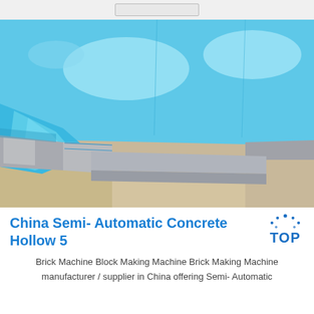[Figure (photo): Close-up photo of a blue plastic-wrapped metal plate or mold, showing the blue protective film on top with metallic silver sides, placed on beige/tan paper or cardboard packaging material.]
China Semi- Automatic Concrete Hollow 5
Brick Machine Block Making Machine Brick Making Machine manufacturer / supplier in China offering Semi- Automatic